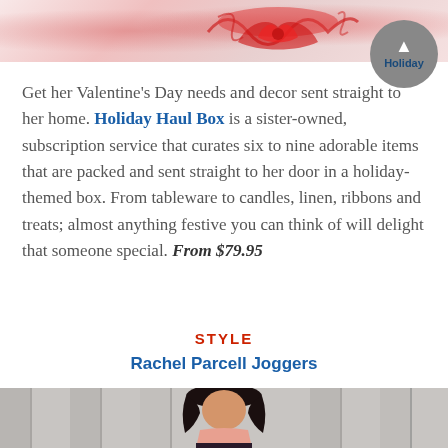[Figure (photo): Top portion of a Valentine's Day themed decorative image with red paper-cut style design on white/light background]
Get her Valentine's Day needs and decor sent straight to her home. Holiday Haul Box is a sister-owned, subscription service that curates six to nine adorable items that are packed and sent straight to her door in a holiday-themed box. From tableware to candles, linen, ribbons and treats; almost anything festive you can think of will delight that someone special. From $79.95
STYLE
Rachel Parcell Joggers
[Figure (photo): Woman with dark hair wearing a pink top and floral skirt, standing in front of stone columns]